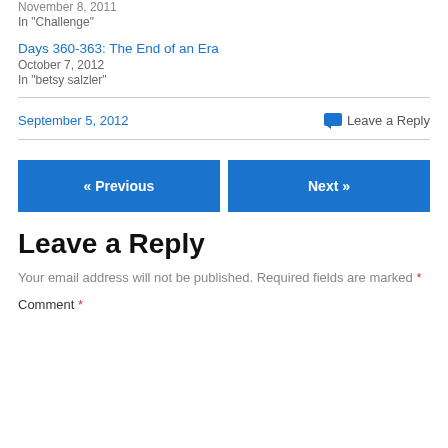November 8, 2011
In "Challenge"
Days 360-363: The End of an Era
October 7, 2012
In "betsy salzler"
September 5, 2012
Leave a Reply
« Previous
Next »
Leave a Reply
Your email address will not be published. Required fields are marked *
Comment *